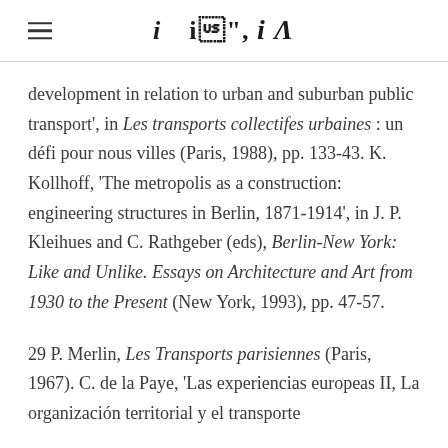iA (logo)
development in relation to urban and suburban public transport', in Les transports collectifes urbaines : un défi pour nous villes (Paris, 1988), pp. 133-43. K. Kollhoff, 'The metropolis as a construction: engineering structures in Berlin, 1871-1914', in J. P. Kleihues and C. Rathgeber (eds), Berlin-New York: Like and Unlike. Essays on Architecture and Art from 1930 to the Present (New York, 1993), pp. 47-57.
29 P. Merlin, Les Transports parisiennes (Paris, 1967). C. de la Paye, 'Las experiencias europeas II, La organización territorial y el transporte